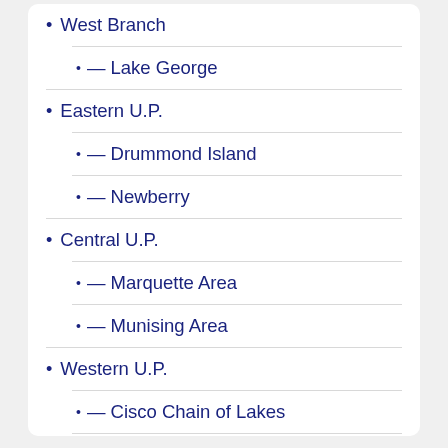West Branch
— Lake George
Eastern U.P.
— Drummond Island
— Newberry
Central U.P.
— Marquette Area
— Munising Area
Western U.P.
— Cisco Chain of Lakes
— Lake Gogebic
— Ontonagon – Porkies